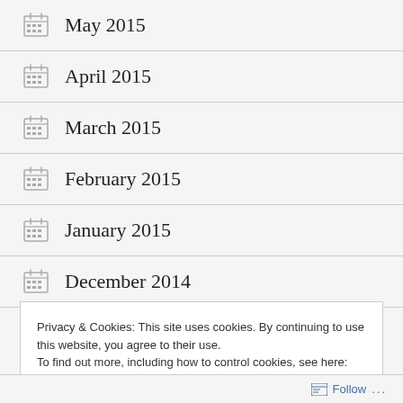May 2015
April 2015
March 2015
February 2015
January 2015
December 2014
Privacy & Cookies: This site uses cookies. By continuing to use this website, you agree to their use.
To find out more, including how to control cookies, see here: Cookie Policy
Follow ...